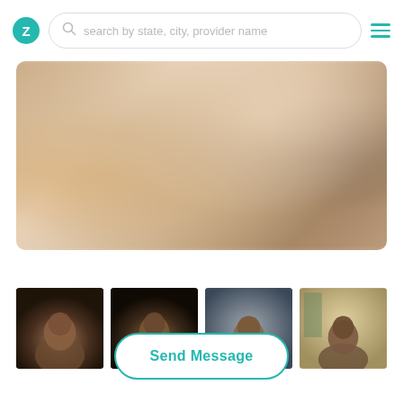Z  search by state, city, provider name
[Figure (photo): Blurred background photo of a person in a white coat/shirt in an indoor office setting, out of focus]
[Figure (photo): Row of four thumbnail photos showing a smiling Black woman with natural hair updo against various backgrounds: bookshelf (dark), bookshelf (dark), light blue, and warm tan/plant background]
Send Message